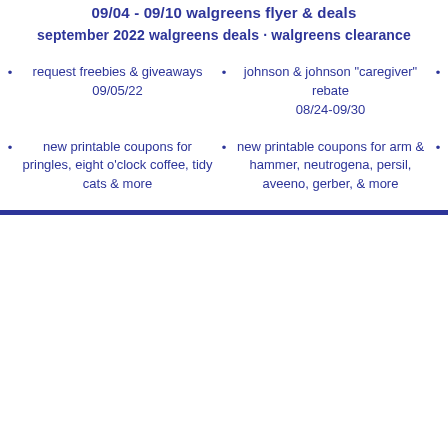09/04 - 09/10 walgreens flyer & deals
september 2022 walgreens deals · walgreens clearance
request freebies & giveaways 09/05/22
johnson & johnson "caregiver" rebate 08/24-09/30
new printable coupons for pringles, eight o'clock coffee, tidy cats & more
new printable coupons for arm & hammer, neutrogena, persil, aveeno, gerber, & more